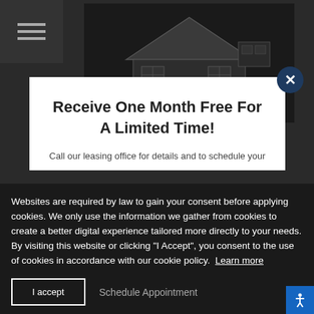[Figure (screenshot): Dark website background with hamburger menu icon top-left and a house/apartment floor plan image at top center]
Receive One Month Free For A Limited Time!
Call our leasing office for details and to schedule your
Websites are required by law to gain your consent before applying cookies. We only use the information we gather from cookies to create a better digital experience tailored more directly to your needs. By visiting this website or clicking "I Accept", you consent to the use of cookies in accordance with our cookie policy. Learn more
I accept
Schedule Appointment